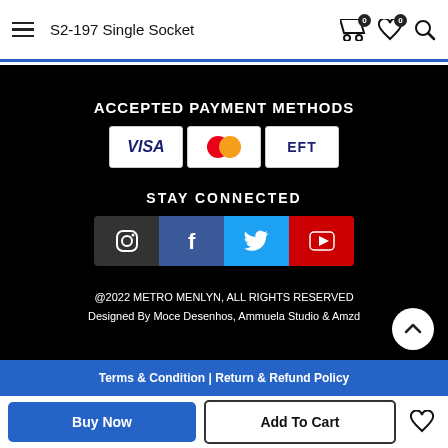S2-197 Single Socket
ACCEPTED PAYMENT METHODS
[Figure (logo): Payment method logos: VISA, Mastercard, EFT]
STAY CONNECTED
[Figure (infographic): Social media icons: Instagram, Facebook, Twitter, YouTube]
@2022 METRO MENLYN, ALL RIGHTS RESERVED
Designed By Moce Desenhos, Ammuela Studio & Amzd
Terms & Condition | Return & Refund Policy
Buy Now | Add To Cart